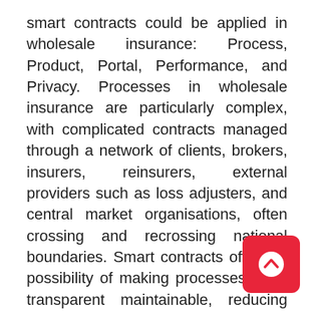smart contracts could be applied in wholesale insurance: Process, Product, Portal, Performance, and Privacy. Processes in wholesale insurance are particularly complex, with complicated contracts managed through a network of clients, brokers, insurers, reinsurers, external providers such as loss adjusters, and central market organisations, often crossing and recrossing national boundaries. Smart contracts offer the possibility of making processes more transparent maintainable, reducing the need for intervention and reducing costs and error
[Figure (other): A red rounded square button with a white upward-pointing chevron/arrow icon, used as a scroll-to-top navigation button.]